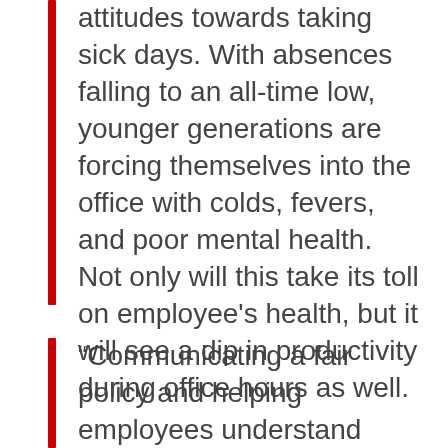attitudes towards taking sick days. With absences falling to an all-time low, younger generations are forcing themselves into the office with colds, fevers, and poor mental health. Not only will this take its toll on employee's health, but it will see a dip in productivity during office hours as well.
“Communicating a fair policy and helping employees understand their rights when it comes